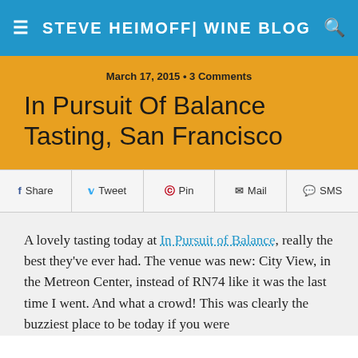STEVE HEIMOFF| WINE BLOG
March 17, 2015 • 3 Comments
In Pursuit Of Balance Tasting, San Francisco
Share  Tweet  Pin  Mail  SMS
A lovely tasting today at In Pursuit of Balance, really the best they've ever had. The venue was new: City View, in the Metreon Center, instead of RN74 like it was the last time I went. And what a crowd! This was clearly the buzziest place to be today if you were